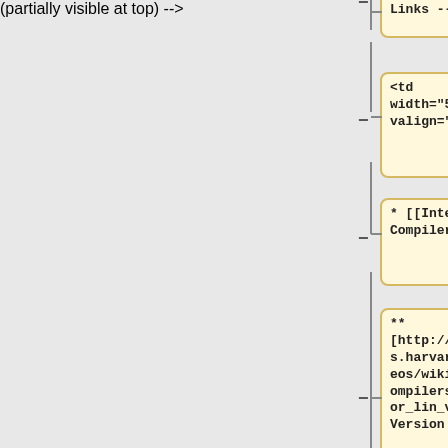Links -->
<td width="50%" valign="top">
* [[Intel Fortran Compiler]]
** [http://acmg.seas.harvard.edu/geos/wiki_docs/compilers/main_for_lin_v11.pdf Version 11.1]
** [http://acmg.seas.harvard.edu/geos/wiki_docs/compilers/main_for_lin_v12.pdf Version 12.1]